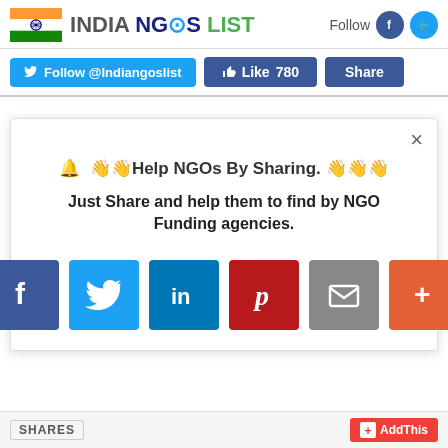India NGOs List
Follow @Indiangoslist   Like 780   Share
🔔 Help NGOs By Sharing. 👋👋👋
Just Share and help them to find by NGO Funding agencies.
[Figure (screenshot): Social sharing buttons: Facebook, Twitter, LinkedIn, Pinterest, Email, More (+)]
SHARES   AddThis